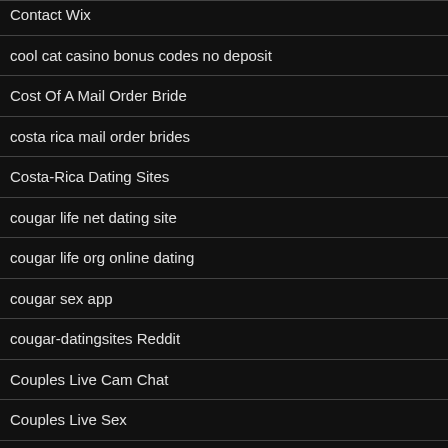Contact Wix
cool cat casino bonus codes no deposit
Cost Of A Mail Order Bride
costa rica mail order brides
Costa-Rica Dating Sites
cougar life net dating site
cougar life org online dating
cougar sex app
cougar-datingsites Reddit
Couples Live Cam Chat
Couples Live Sex
Couples Live Webcam Chat
craigslist mpls mn personals